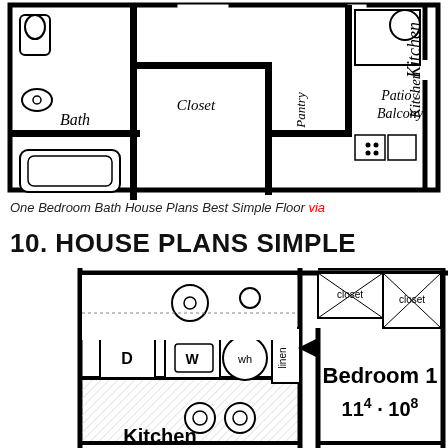[Figure (engineering-diagram): Floor plan showing Bath, Closet, Pantry, Kitchen, and Patio/Balcony rooms with architectural symbols]
One Bedroom Bath House Plans Best Simple Floor via
10. HOUSE PLANS SIMPLE
[Figure (engineering-diagram): Floor plan showing Kitchen with appliances (D, W, wh, linen), and Bedroom 1 with two closets, dimensions 11^4 · 10^8]